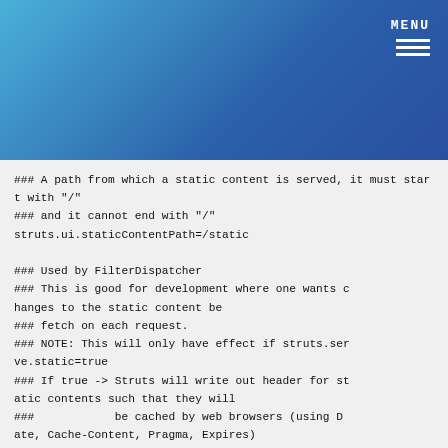MENU
### A path from which a static content is served, it must start with "/"
### and it cannot end with "/"
struts.ui.staticContentPath=/static

### Used by FilterDispatcher
### This is good for development where one wants changes to the static content be
### fetch on each request.
### NOTE: This will only have effect if struts.serve.static=true
### If true -> Struts will write out header for static contents such that they will
###            be cached by web browsers (using Date, Cache-Content, Pragma, Expires)
###            headers).
### If false -> Struts will write out header for static contents such that they are
###            NOT to be cached by web browser (using Cache-Content, Pragma, Expires